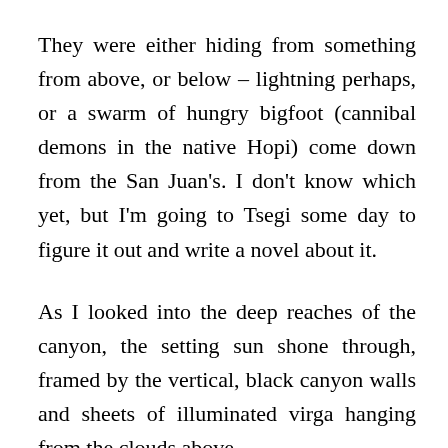They were either hiding from something from above, or below – lightning perhaps, or a swarm of hungry bigfoot (cannibal demons in the native Hopi) come down from the San Juan's. I don't know which yet, but I'm going to Tsegi some day to figure it out and write a novel about it.
As I looked into the deep reaches of the canyon, the setting sun shone through, framed by the vertical, black canyon walls and sheets of illuminated virga hanging from the clouds above.
It was damned ominous looking, but